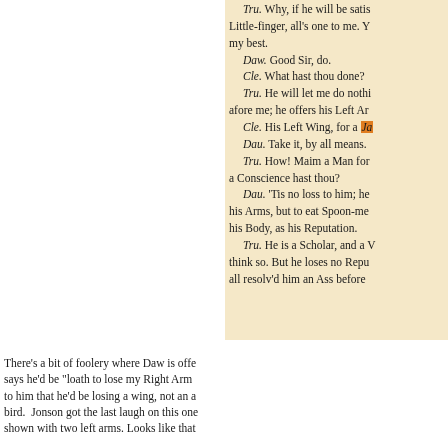writing Marriages. Tru. Why, if he will be satisfied with a Little-finger, all's one to me. You shall have my best. Daw. Good Sir, do. Cle. What hast thou done? Tru. He will let me do nothing afore me; he offers his Left Ar... Cle. His Left Wing, for a Ja... Dau. Take it, by all means. Tru. How! Maim a Man for a Conscience hast thou? Dau. 'Tis no loss to him; he... his Arms, but to eat Spoon-me... his Body, as his Reputation. Tru. He is a Scholar, and a W... think so. But he loses no Repu... all resolv'd him an Ass before
There's a bit of foolery where Daw is offe... says he'd be "loath to lose my Right Arm... to him that he'd be losing a wing, not an a... bird. Jonson got the last laugh on this one... shown with two left arms. Looks like that...